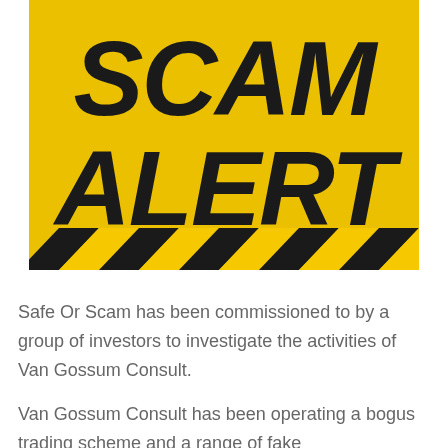[Figure (illustration): Scam Alert warning sign with bold black text reading 'SCAM ALERT' on a yellow background with black diagonal hazard stripes at the bottom.]
Safe Or Scam has been commissioned to by a group of investors to investigate the activities of Van Gossum Consult.
Van Gossum Consult has been operating a bogus trading scheme and a range of fake